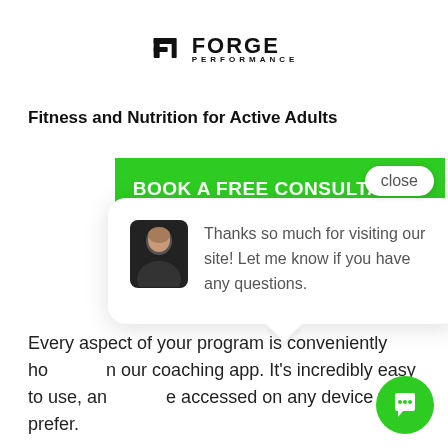[Figure (logo): Forge Performance logo with stylized P icon and FORGE PERFORMANCE text]
Fitness and Nutrition for Active Adults
[Figure (screenshot): Green button reading BOOK A FREE CONSULTATION with a close chip overlay]
[Figure (screenshot): Chat popup with avatar photo and message: Thanks so much for visiting our site! Let me know if you have any questions.]
Every aspect of your program is conveniently hosted in our coaching app. It's incredibly easy to use, and can be accessed on any device you prefer.